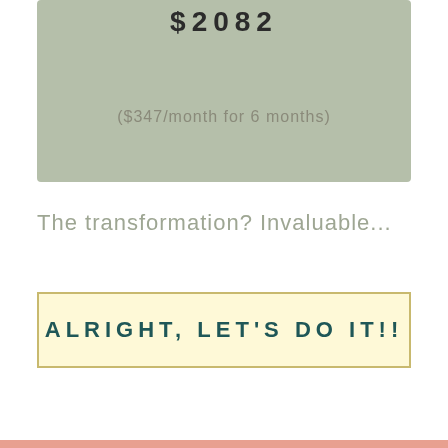$2082
($347/month for 6 months)
The transformation? Invaluable...
ALRIGHT, LET'S DO IT!!